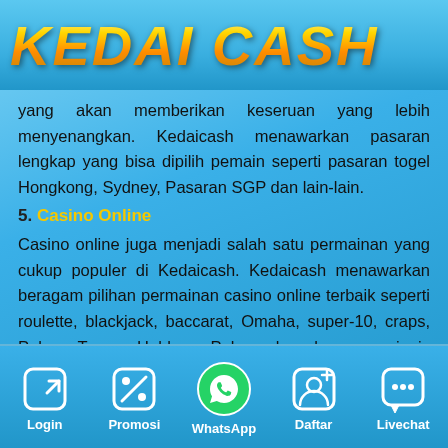KEDAI CASH
yang akan memberikan keseruan yang lebih menyenangkan. Kedaicash menawarkan pasaran lengkap yang bisa dipilih pemain seperti pasaran togel Hongkong, Sydney, Pasaran SGP dan lain-lain.
5. Casino Online
Casino online juga menjadi salah satu permainan yang cukup populer di Kedaicash. Kedaicash menawarkan beragam pilihan permainan casino online terbaik seperti roulette, blackjack, baccarat, Omaha, super-10, craps, Poker Texas Holdem Poker dan beragam jenis permainan casino online lainnya
Login | Promosi | WhatsApp | Daftar | Livechat